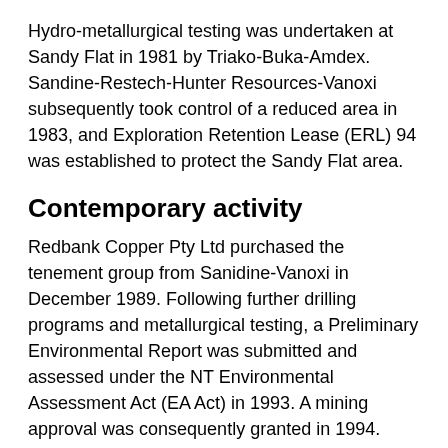Hydro-metallurgical testing was undertaken at Sandy Flat in 1981 by Triako-Buka-Amdex. Sandine-Restech-Hunter Resources-Vanoxi subsequently took control of a reduced area in 1983, and Exploration Retention Lease (ERL) 94 was established to protect the Sandy Flat area.
Contemporary activity
Redbank Copper Pty Ltd purchased the tenement group from Sanidine-Vanoxi in December 1989. Following further drilling programs and metallurgical testing, a Preliminary Environmental Report was submitted and assessed under the NT Environmental Assessment Act (EA Act) in 1993. A mining approval was consequently granted in 1994.
Mining and associated processing was undertaken between 1994 and 1996. The ore was processed through conventional floatation methods to produce a copper concentrate. Some then was the old for more about to let